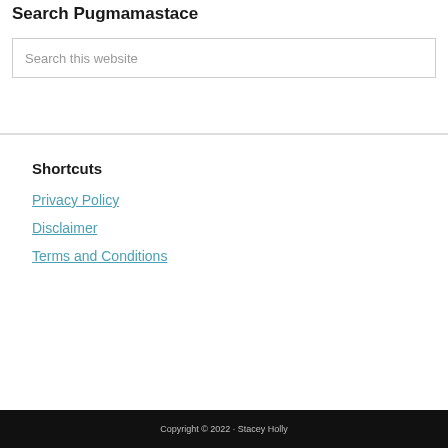Search Pugmamastace
Search this website
Shortcuts
Privacy Policy
Disclaimer
Terms and Conditions
Copyright © 2022 · Stacey Holly